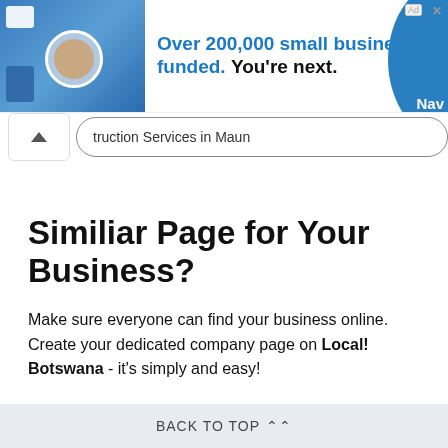[Figure (infographic): Advertisement banner for Nav showing 'Over 200,000 small businesses funded. You're next.' with a person avatar and Nav branding on blue background]
truction Services in Maun
Similiar Page for Your Business?
Make sure everyone can find your business online. Create your dedicated company page on Local! Botswana - it's simply and easy!
LIST YOUR BUSINESS
BACK TO TOP